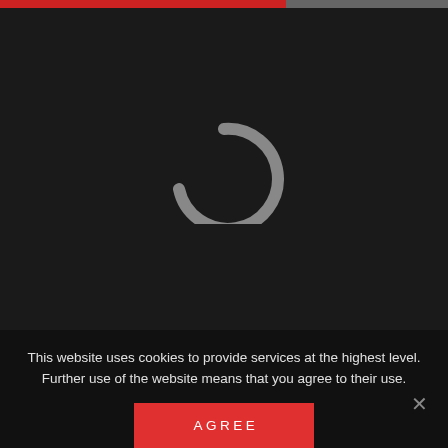[Figure (screenshot): Dark video player area with a gray loading spinner (open circle arc) centered in the frame, and a red/gray progress bar at the very top.]
This website uses cookies to provide services at the highest level. Further use of the website means that you agree to their use.
AGREE